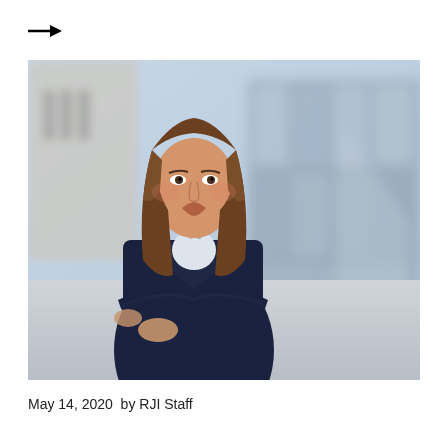[Figure (other): Arrow icon pointing right]
[Figure (photo): Professional headshot of a woman with shoulder-length brown hair, wearing a dark navy blazer and a silver necklace, arms crossed, standing outdoors in front of a modern glass building. Background is blurred.]
May 14, 2020  by RJI Staff